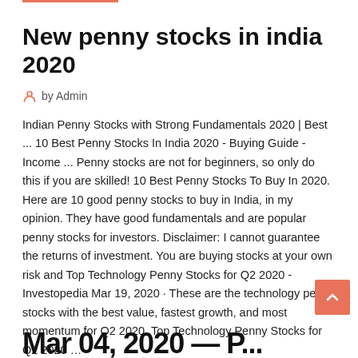New penny stocks in india 2020
by Admin
Indian Penny Stocks with Strong Fundamentals 2020 | Best ... 10 Best Penny Stocks In India 2020 - Buying Guide - Income ... Penny stocks are not for beginners, so only do this if you are skilled! 10 Best Penny Stocks To Buy In 2020. Here are 10 good penny stocks to buy in India, in my opinion. They have good fundamentals and are popular penny stocks for investors. Disclaimer: I cannot guarantee the returns of investment. You are buying stocks at your own risk and Top Technology Penny Stocks for Q2 2020 - Investopedia Mar 19, 2020 · These are the technology penny stocks with the best value, fastest growth, and most momentum for Q2 2020. Top Technology Penny Stocks for Q2 2020 …